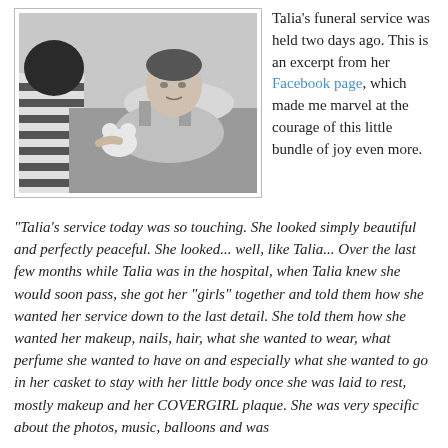[Figure (photo): Black and white photo of a young girl resting in bed, holding a small stuffed animal, with another person visible at left wearing a striped shirt.]
Talia's funeral service was held two days ago. This is an excerpt from her Facebook page, which made me marvel at the courage of this little bundle of joy even more.
"Talia's service today was so touching. She looked simply beautiful and perfectly peaceful. She looked... well, like Talia... Over the last few months while Talia was in the hospital, when Talia knew she would soon pass, she got her "girls" together and told them how she wanted her service down to the last detail. She told them how she wanted her makeup, nails, hair, what she wanted to wear, what perfume she wanted to have on and especially what she wanted to go in her casket to stay with her little body once she was laid to rest, mostly makeup and her COVERGIRL plaque. She was very specific about the photos, music, balloons and was adamant that no one was to wear black because she hated that."